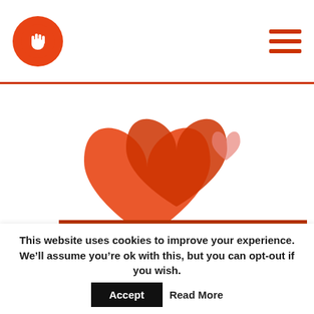CRMdipity logo and navigation menu
[Figure (illustration): Red heart illustration on white background — two overlapping heart shapes in red/orange with a smaller pink heart to the right]
Our Top 5 Romantic Sales Movies
For Valentine’s Day, here’s our Top 5 Romantic Sales Movies…   CRMdipity BDM Fiona has been using an Excel spreadsheet for all of her prospecting.  One day by chance she hits an icon on her desktop, and
This website uses cookies to improve your experience. We’ll assume you’re ok with this, but you can opt-out if you wish.  Accept  Read More